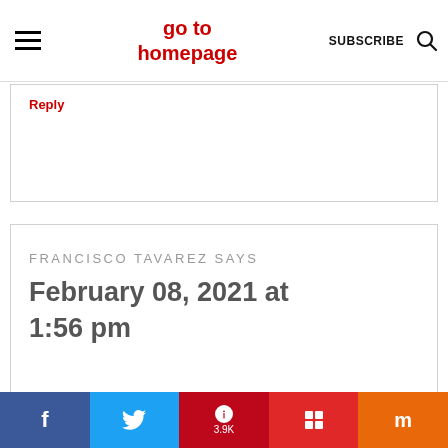go to homepage | SUBSCRIBE
Reply
FRANCISCO TAVAREZ SAYS
February 08, 2021 at 1:56 pm
f | Twitter | Pinterest 3.9K | Flipboard | Mix